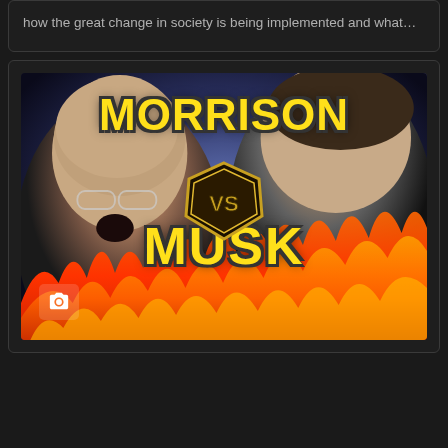how the great change in society is being implemented and what...
[Figure (photo): Meme image showing two men facing each other with text 'MORRISON VS MUSK' in large yellow letters with black outline, flames at the bottom, and a VS badge in the center]